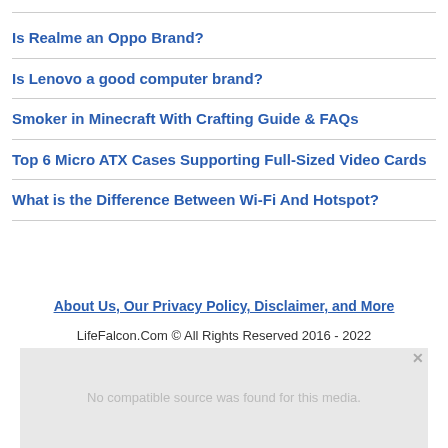Is Realme an Oppo Brand?
Is Lenovo a good computer brand?
Smoker in Minecraft With Crafting Guide & FAQs
Top 6 Micro ATX Cases Supporting Full-Sized Video Cards
What is the Difference Between Wi-Fi And Hotspot?
About Us, Our Privacy Policy, Disclaimer, and More
LifeFalcon.Com © All Rights Reserved 2016 - 2022
[Figure (screenshot): Video player placeholder showing 'No compatible source was found for this media.' message with close button]